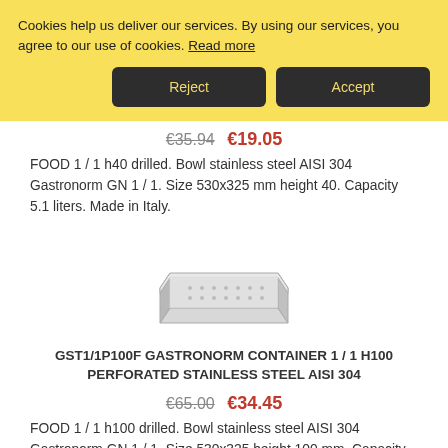Cookies help us deliver our services. By using our services, you agree to our use of cookies. Read more
Reject | Accept
€35.94  €19.05
FOOD 1 / 1 h40 drilled. Bowl stainless steel AISI 304 Gastronorm GN 1 / 1. Size 530x325 mm height 40. Capacity 5.1 liters. Made in Italy.
[Figure (photo): Stainless steel perforated gastronorm container, rectangular with low sides, photographed from above at an angle]
GST1/1P100F GASTRONORM CONTAINER 1 / 1 H100 PERFORATED STAINLESS STEEL AISI 304
€65.00  €34.45
FOOD 1 / 1 h100 drilled. Bowl stainless steel AISI 304 Gastronorm GN 1 / 1. Size 530x325 height 100 mm. Capacity 13.3 liters. Made in